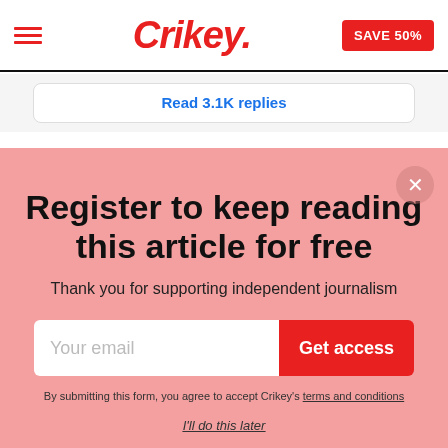Crikey. | SAVE 50%
Read 3.1K replies
Register to keep reading this article for free
Thank you for supporting independent journalism
Your email | Get access
By submitting this form, you agree to accept Crikey's terms and conditions
I'll do this later